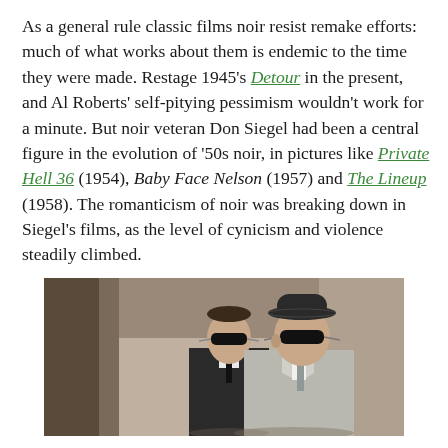As a general rule classic films noir resist remake efforts: much of what works about them is endemic to the time they were made. Restage 1945's Detour in the present, and Al Roberts' self-pitying pessimism wouldn't work for a minute. But noir veteran Don Siegel had been a central figure in the evolution of '50s noir, in pictures like Private Hell 36 (1954), Baby Face Nelson (1957) and The Lineup (1958). The romanticism of noir was breaking down in Siegel's films, as the level of cynicism and violence steadily climbed.
[Figure (photo): A color film still showing two men wearing dark sunglasses. The man in the foreground wears a light grey suit and a dark bowler hat. The man behind him wears a dark suit with a black tie. They appear to be standing in an interior setting.]